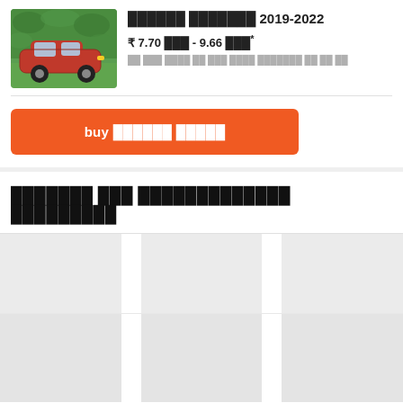[Figure (photo): Red Honda car parked in front of a green foliage wall background]
██████ ███████ 2019-2022
₹ 7.70 ███ - 9.66 ███*
██ ███ ████ ██ ███ ████ ███████ ██ ██ ██
buy ██████ █████
███████ ███ █████████████ █████████
[Figure (other): Grid of loading placeholder cards arranged in two rows of three columns each]